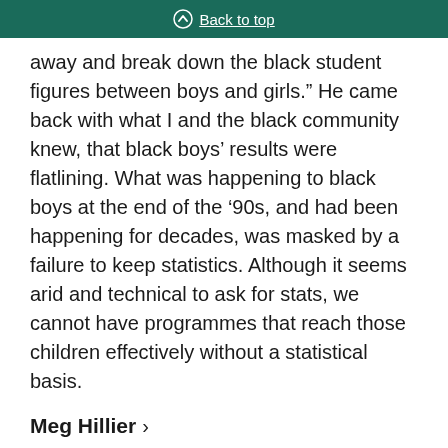Back to top
away and break down the black student figures between boys and girls.” He came back with what I and the black community knew, that black boys’ results were flatlining. What was happening to black boys at the end of the ’90s, and had been happening for decades, was masked by a failure to keep statistics. Although it seems arid and technical to ask for stats, we cannot have programmes that reach those children effectively without a statistical basis.
Meg Hillier
There is an emerging concern that although girls from certain ethnic minority backgrounds now achieve well in Hackney schools at 16, and in